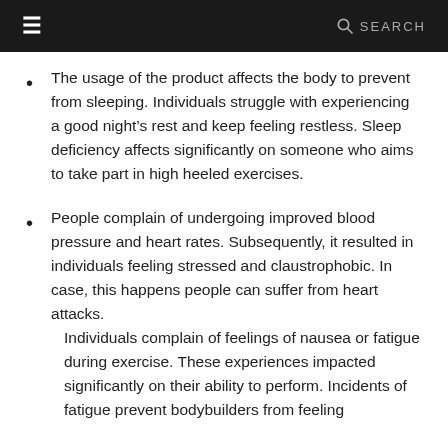≡  SEARCH
The usage of the product affects the body to prevent from sleeping. Individuals struggle with experiencing a good night's rest and keep feeling restless. Sleep deficiency affects significantly on someone who aims to take part in high heeled exercises.
People complain of undergoing improved blood pressure and heart rates. Subsequently, it resulted in individuals feeling stressed and claustrophobic. In case, this happens people can suffer from heart attacks.
Individuals complain of feelings of nausea or fatigue during exercise. These experiences impacted significantly on their ability to perform. Incidents of fatigue prevent bodybuilders from feeling